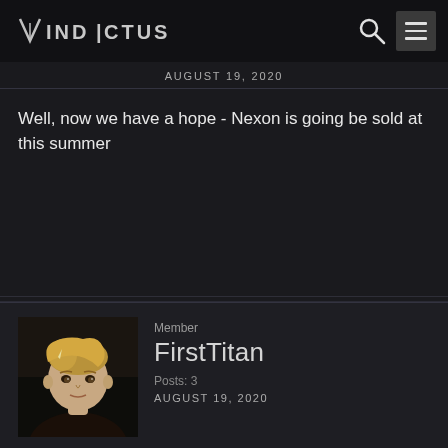VINDICTUS
AUGUST 19, 2020
Well, now we have a hope - Nexon is going be sold at this summer
[Figure (photo): User avatar for FirstTitan showing a blonde female game character]
Member
FirstTitan
Posts: 3
AUGUST 19, 2020
Well, now we have a hope - once Nexon will be sold - regions will be unblocked